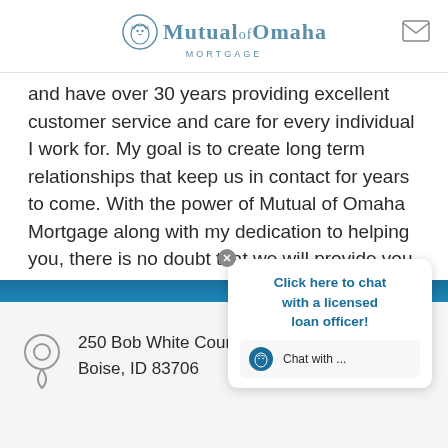Mutual of Omaha Mortgage
and have over 30 years providing excellent customer service and care for every individual I work for. My goal is to create long term relationships that keep us in contact for years to come. With the power of Mutual of Omaha Mortgage along with my dedication to helping you, there is no doubt that we will provide you with the service and product that you deserve and are expecting.
250 Bob White Court, Suite 100
Boise, ID 83706
[Figure (screenshot): Chat widget overlay with text 'Click here to chat with a licensed loan officer!' and a 'Chat with ...' button with Mutual of Omaha logo]